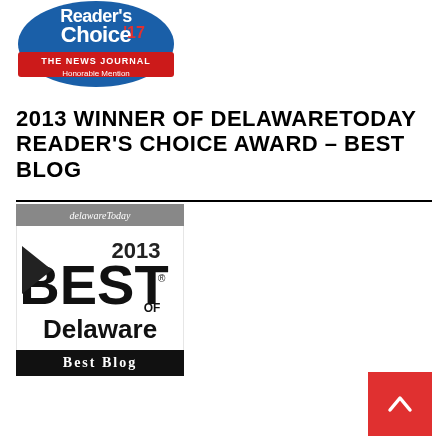[Figure (logo): Reader's Choice '17 The News Journal Honorable Mention circular badge]
2013 WINNER OF DELAWARETODAY READER'S CHOICE AWARD – BEST BLOG
[Figure (logo): Delaware Today 2013 Best of Delaware Best Blog award badge — black and white logo with 'delaware Today', '2013', 'BEST OF Delaware', 'Best Blog' text]
[Figure (other): Red scroll-to-top button with white up-arrow chevron]